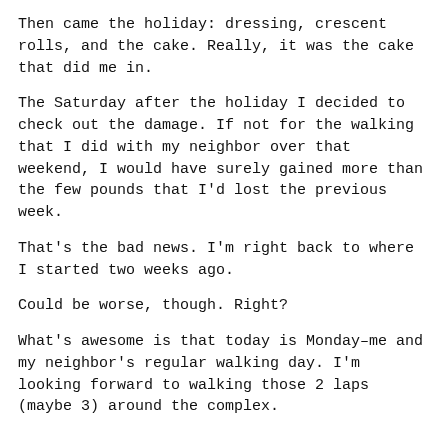Then came the holiday: dressing, crescent rolls, and the cake. Really, it was the cake that did me in.
The Saturday after the holiday I decided to check out the damage. If not for the walking that I did with my neighbor over that weekend, I would have surely gained more than the few pounds that I'd lost the previous week.
That's the bad news. I'm right back to where I started two weeks ago.
Could be worse, though. Right?
What's awesome is that today is Monday–me and my neighbor's regular walking day. I'm looking forward to walking those 2 laps (maybe 3) around the complex.